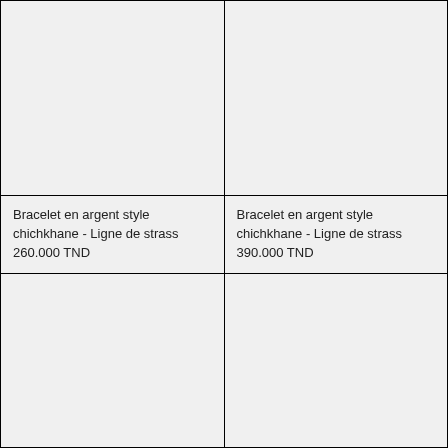[Figure (photo): Empty product image cell top-left]
[Figure (photo): Empty product image cell top-right]
Bracelet en argent style chichkhane - Ligne de strass
260.000 TND
Bracelet en argent style chichkhane - Ligne de strass
390.000 TND
[Figure (photo): Empty product image cell bottom-left]
[Figure (photo): Empty product image cell bottom-right]